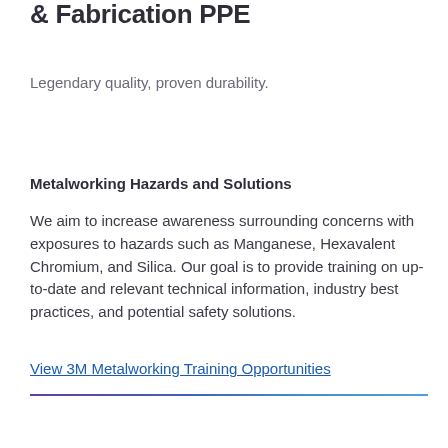& Fabrication PPE
Legendary quality, proven durability.
Metalworking Hazards and Solutions
We aim to increase awareness surrounding concerns with exposures to hazards such as Manganese, Hexavalent Chromium, and Silica. Our goal is to provide training on up-to-date and relevant technical information, industry best practices, and potential safety solutions.
View 3M Metalworking Training Opportunities